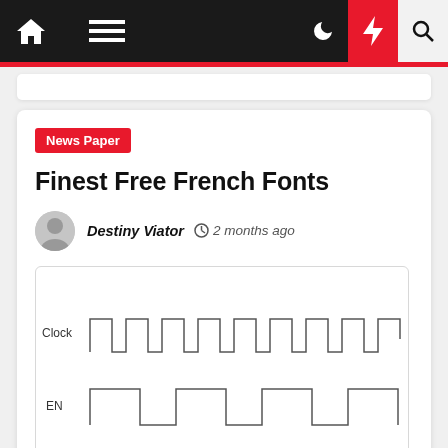Navigation bar with home, menu, moon, bolt, and search icons
News Paper
Finest Free French Fonts
Destiny Viator  2 months ago
[Figure (engineering-diagram): Digital timing diagram showing Clock signal with regular square wave pulses, EN signal with wider pulses, and partial third signal row at bottom]